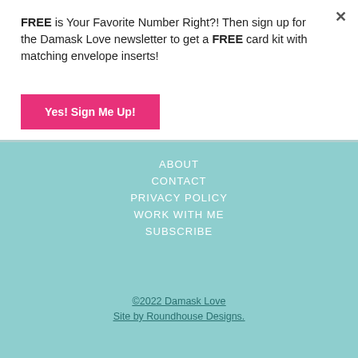FREE is Your Favorite Number Right?! Then sign up for the Damask Love newsletter to get a FREE card kit with matching envelope inserts!
Yes! Sign Me Up!
ABOUT
CONTACT
PRIVACY POLICY
WORK WITH ME
SUBSCRIBE
©2022 Damask Love
Site by Roundhouse Designs.